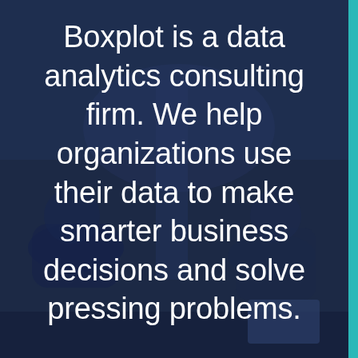[Figure (photo): Dark blue tinted photo of people in a meeting or conference room, seen from behind, with a teal vertical stripe on the right edge.]
Boxplot is a data analytics consulting firm. We help organizations use their data to make smarter business decisions and solve pressing problems.